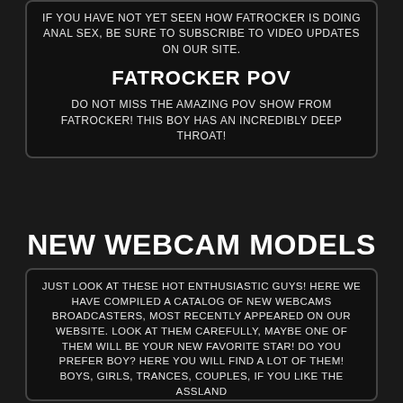IF YOU HAVE NOT YET SEEN HOW FATROCKER IS DOING ANAL SEX, BE SURE TO SUBSCRIBE TO VIDEO UPDATES ON OUR SITE.
FATROCKER POV
DO NOT MISS THE AMAZING POV SHOW FROM FATROCKER! THIS BOY HAS AN INCREDIBLY DEEP THROAT!
NEW WEBCAM MODELS
JUST LOOK AT THESE HOT ENTHUSIASTIC GUYS! HERE WE HAVE COMPILED A CATALOG OF NEW WEBCAMS BROADCASTERS, MOST RECENTLY APPEARED ON OUR WEBSITE. LOOK AT THEM CAREFULLY, MAYBE ONE OF THEM WILL BE YOUR NEW FAVORITE STAR! DO YOU PREFER BOY? HERE YOU WILL FIND A LOT OF THEM! BOYS, GIRLS, TRANCES, COUPLES, IF YOU LIKE THE ASSLAND